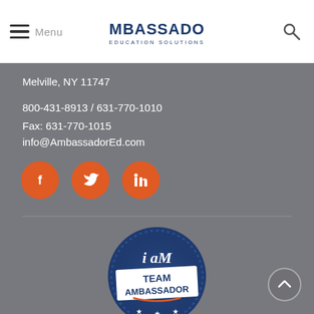Menu | AMBASSADOR EDUCATION SOLUTIONS
Melville, NY 11747
800-431-8913 / 631-770-1010
Fax: 631-770-1015
info@AmbassadorEd.com
[Figure (logo): Social media icons: Facebook, Twitter, LinkedIn as orange circles]
[Figure (logo): i am TEAM AMBASSADOR badge/stamp logo in dark navy blue circle]